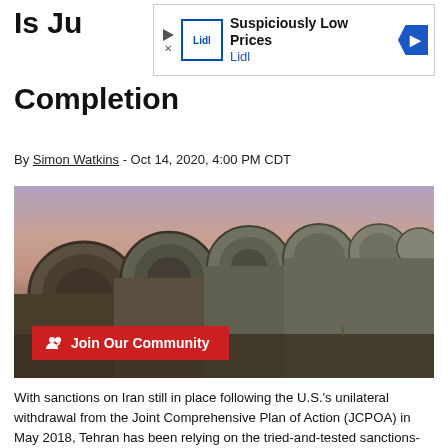Is Ju... Completion
[Figure (other): Advertisement banner for Lidl - Suspiciously Low Prices]
By Simon Watkins - Oct 14, 2020, 4:00 PM CDT
[Figure (photo): Large pipeline pipes stacked in a field at dusk/sunset with purple-pink sky. A red button overlay reads 'Join Our Community' with a people icon.]
With sanctions on Iran still in place following the U.S.'s unilateral withdrawal from the Joint Comprehensive Plan of Action (JCPOA) in May 2018, Tehran has been relying on the tried-and-tested sanctions-busting measures to continue to export increasing volumes of crude oil, as